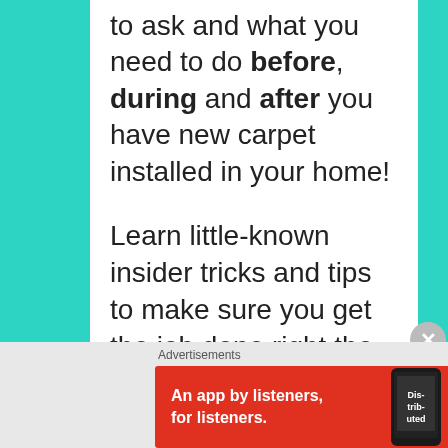to ask and what you need to do before, during and after you have new carpet installed in your home!
Learn little-known insider tricks and tips to make sure you get the job done right the first time and what you must do to keep your new carpet warranty in force. Discover smart ways to ensure you side-step common consumer
Advertisements
[Figure (infographic): Red advertisement banner for Pocket Casts app with text 'An app by listeners, for listeners.' with a phone showing 'Distributed' and the Pocket Casts logo.]